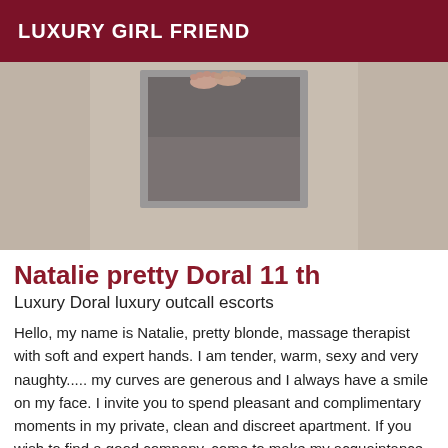LUXURY GIRL FRIEND
[Figure (photo): Photo showing feet/legs visible through a small window or opening, with beige/grey walls in background]
Natalie pretty Doral 11 th
Luxury Doral luxury outcall escorts
Hello, my name is Natalie, pretty blonde, massage therapist with soft and expert hands. I am tender, warm, sexy and very naughty..... my curves are generous and I always have a smile on my face. I invite you to spend pleasant and complimentary moments in my private, clean and discreet apartment. If you wish to find a good company, come to make my acquaintance, I propose you long preliminary and A +, 69, extra ball, BJ, cob,